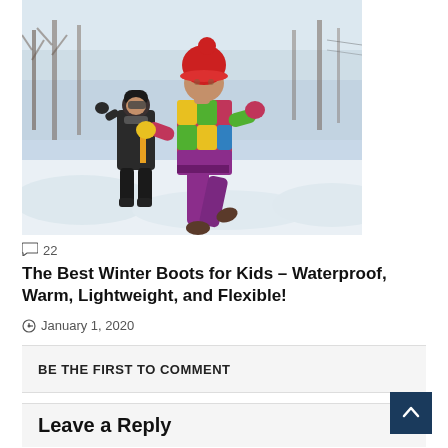[Figure (photo): Two children running in snow wearing colorful winter gear. The child in the foreground wears a bright multicolored jacket, red hat, and purple snow pants. Another child in background wears a dark jacket with yellow accents and a dark hat.]
○ 22
The Best Winter Boots for Kids – Waterproof, Warm, Lightweight, and Flexible!
⊙ January 1, 2020
BE THE FIRST TO COMMENT
Leave a Reply